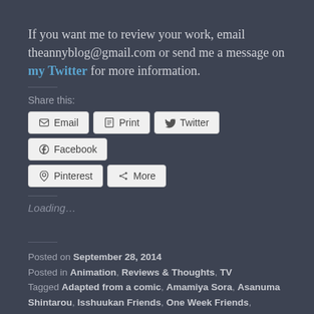If you want me to review your work, email theannyblog@gmail.com or send me a message on my Twitter for more information.
Share this:
Email | Print | Twitter | Facebook | Pinterest | More
Loading...
Posted on September 28, 2014
Posted in Animation, Reviews & Thoughts, TV
Tagged Adapted from a comic, Amamiya Sora, Asanuma Shintarou, Isshuukan Friends, One Week Friends, Ookubo Rumi, Season: spring 2014, VA: Hosoya Yoshimasa, VA: